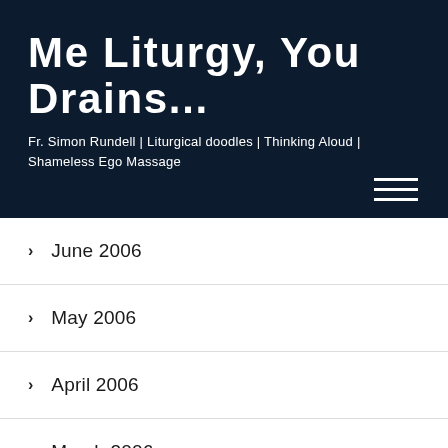Me Liturgy, You Drains...
Fr. Simon Rundell | Liturgical doodles | Thinking Aloud | Shameless Ego Massage
June 2006
May 2006
April 2006
March 2006
January 2006